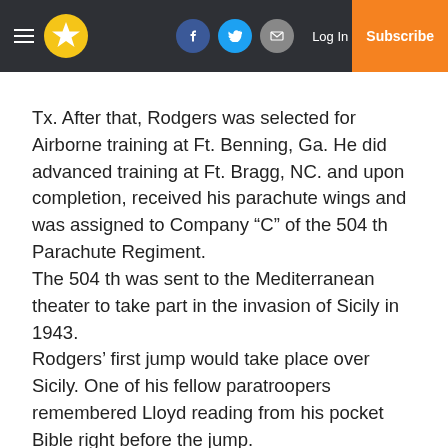Navigation bar with hamburger menu, star logo, Facebook, Twitter, email icons, Log In link, and Subscribe button
Tx. After that, Rodgers was selected for Airborne training at Ft. Benning, Ga. He did advanced training at Ft. Bragg, NC. and upon completion, received his parachute wings and was assigned to Company “C” of the 504 th Parachute Regiment.
The 504 th was sent to the Mediterranean theater to take part in the invasion of Sicily in 1943.
Rodgers’ first jump would take place over Sicily. One of his fellow paratroopers remembered Lloyd reading from his pocket Bible right before the jump.